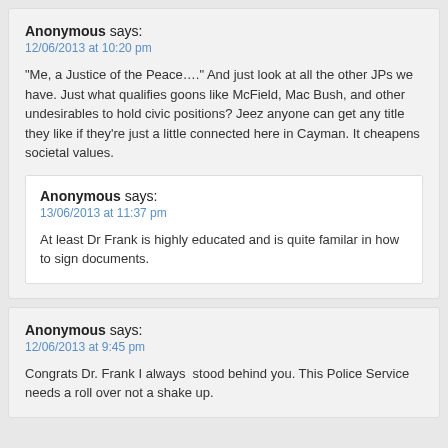Anonymous says:
12/06/2013 at 10:20 pm
“Me, a Justice of the Peace….” And just look at all the other JPs we have. Just what qualifies goons like McField, Mac Bush, and other undesirables to hold civic positions? Jeez anyone can get any title they like if they’re just a little connected here in Cayman. It cheapens societal values.
Anonymous says:
13/06/2013 at 11:37 pm
At least Dr Frank is highly educated and is quite familar in how to sign documents.
Anonymous says:
12/06/2013 at 9:45 pm
Congrats Dr. Frank I always  stood behind you. This Police Service needs a roll over not a shake up.